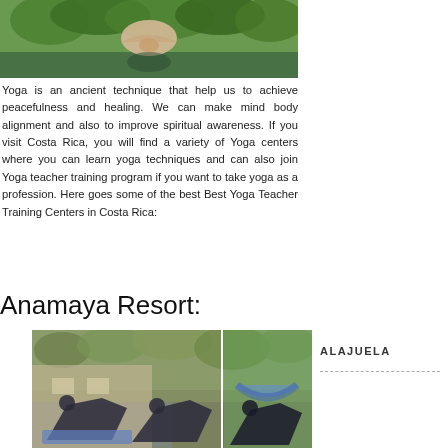[Figure (photo): Person meditating by water with hands together, surrounded by green foliage, reflected in calm water]
Yoga is an ancient technique that help us to achieve peacefulness and healing. We can make mind body alignment and also to improve spiritual awareness. If you visit Costa Rica, you will find a variety of Yoga centers where you can learn yoga techniques and can also join Yoga teacher training program if you want to take yoga as a profession. Here goes some of the best Best Yoga Teacher Training Centers in Costa Rica:
Anamaya Resort:
[Figure (photo): Group of people doing yoga poses (downward dog) on mats in an open-air studio surrounded by tropical greenery]
ALAJUELA